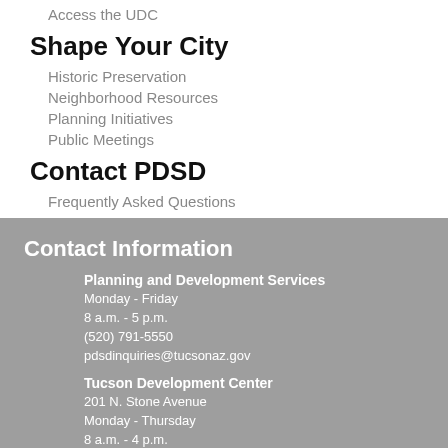Access the UDC
Shape Your City
Historic Preservation
Neighborhood Resources
Planning Initiatives
Public Meetings
Contact PDSD
Frequently Asked Questions
Contact Information
Planning and Development Services
Monday - Friday
8 a.m. - 5 p.m.
(520) 791-5550
pdsdinquiries@tucsonaz.gov
Tucson Development Center
201 N. Stone Avenue
Monday - Thursday
8 a.m. - 4 p.m.
PDSD Social Media